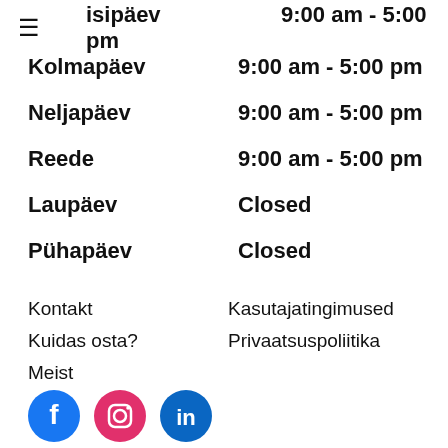| Day | Hours |
| --- | --- |
| teisipäev (partial) | 9:00 am - 5:00 pm |
| Kolmapäev | 9:00 am - 5:00 pm |
| Neljapäev | 9:00 am - 5:00 pm |
| Reede | 9:00 am - 5:00 pm |
| Laupäev | Closed |
| Pühapäev | Closed |
Kontakt
Kuidas osta?
Meist
Kasutajatingimused
Privaatsuspoliitika
[Figure (other): Social media icons: Facebook, Instagram, LinkedIn]